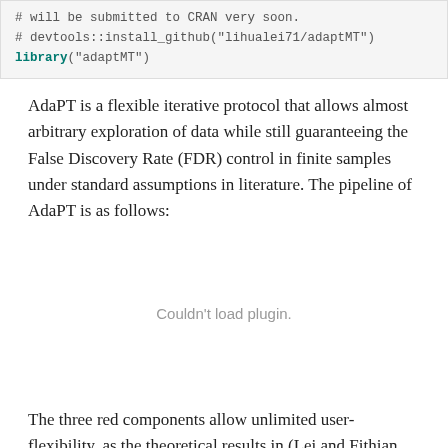# will be submitted to CRAN very soon.
# devtools::install_github("lihualei71/adaptMT")
library("adaptMT")
AdaPT is a flexible iterative protocol that allows almost arbitrary exploration of data while still guaranteeing the False Discovery Rate (FDR) control in finite samples under standard assumptions in literature. The pipeline of AdaPT is as follows:
[Figure (other): Could not load plugin area — plugin content placeholder]
The three red components allow unlimited user-flexibility, as the theoretical results in (Lei and Fithian 2016) guarantees the